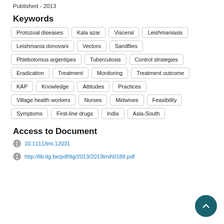Published - 2013
Keywords
Protozoal diseases
Kala azar
Visceral
Leishmaniasis
Leishmania donovani
Vectors
Sandflies
Phlebotomus argentipes
Tuberculosis
Control strategies
Eradication
Treatment
Monitoring
Treatment outcome
KAP
Knowledge
Attitudes
Practices
Village health workers
Nurses
Midwives
Feasibility
Symptoms
First-line drugs
India
Asia-South
Access to Document
10.1111/tmi.12031
http://lib.itg.be/pdf/itg/2013/2013tmih0188.pdf